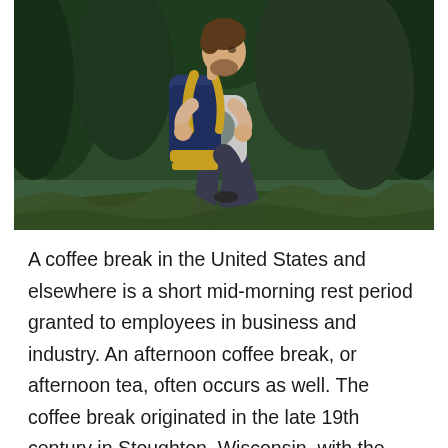[Figure (photo): A man with a large blue and yellow backpack hiking outdoors, mid-step, with a green forested background. He is wearing a grey t-shirt and dark pants, looking to the side.]
A coffee break in the United States and elsewhere is a short mid-morning rest period granted to employees in business and industry. An afternoon coffee break, or afternoon tea, often occurs as well. The coffee break originated in the late 19th century in Stoughton, Wisconsin, with the wives of Norwegian immigrants. The city celebrates this